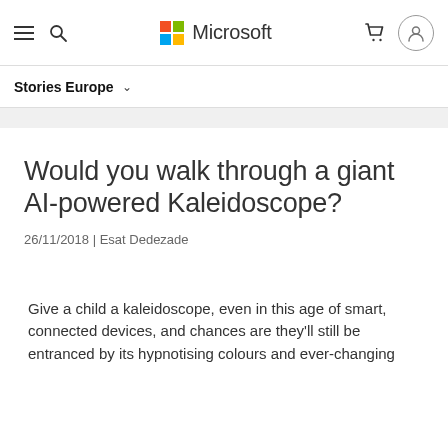Microsoft — Stories Europe navigation bar
Stories Europe
Would you walk through a giant AI-powered Kaleidoscope?
26/11/2018 | Esat Dedezade
Give a child a kaleidoscope, even in this age of smart, connected devices, and chances are they'll still be entranced by its hypnotising colours and ever-changing